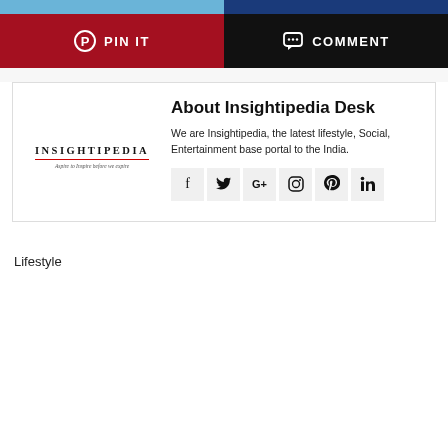[Figure (screenshot): Top stripe with blue left half and dark blue right half]
PIN IT   COMMENT
[Figure (logo): Insightipedia logo with tagline 'Aspire to Inspire before we expire']
About Insightipedia Desk
We are Insightipedia, the latest lifestyle, Social, Entertainment base portal to the India.
[Figure (infographic): Social media icons: Facebook, Twitter, Google+, Instagram, Pinterest, LinkedIn]
Lifestyle